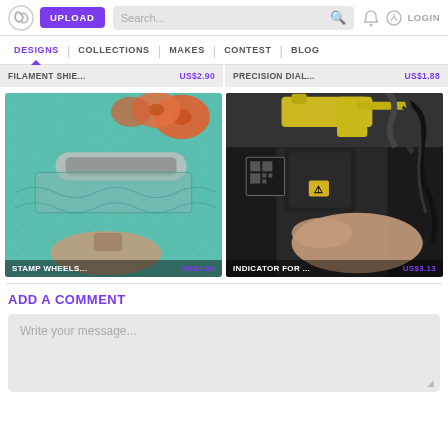UPLOAD | Search... | LOGIN
DESIGNS | COLLECTIONS | MAKES | CONTEST | BLOG
FILAMENT SHIE... US$2.90 | PRECISION DIAL... US$1.88
[Figure (photo): Stamp wheels product photo showing decorative clay/dough roller stamps with teal background and orange spools, hand pressing a rectangular stamp into teal clay]
STAMP WHEELS... US$2.88
[Figure (photo): Indicator for 3D printer product photo showing a yellow tool holder attachment on a dark 3D printer frame, hand adjusting the mechanism]
INDICATOR FOR ... US$3.13
ADD A COMMENT
Write your message...